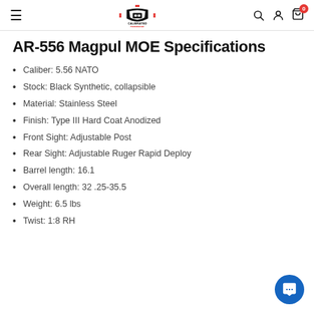Calibrated Defense — navigation header
AR-556 Magpul MOE Specifications
Caliber: 5.56 NATO
Stock: Black Synthetic, collapsible
Material: Stainless Steel
Finish: Type III Hard Coat Anodized
Front Sight: Adjustable Post
Rear Sight: Adjustable Ruger Rapid Deploy
Barrel length: 16.1
Overall length: 32 .25-35.5
Weight: 6.5 lbs
Twist: 1:8 RH